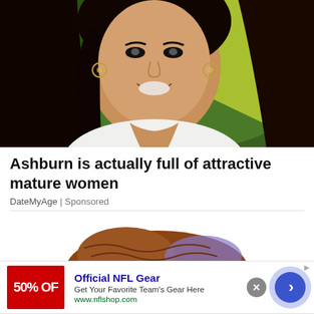[Figure (photo): A smiling young woman with long dark hair, hoop earrings, against a green foliage background]
Ashburn is actually full of attractive mature women
DateMyAge | Sponsored
[Figure (illustration): Partial cartoon illustration visible at bottom of content area]
[Figure (infographic): Advertisement banner: Official NFL Gear - Get Your Favorite Team's Gear Here - www.nflshop.com, with red logo showing '50% OF' and a blue arrow button]